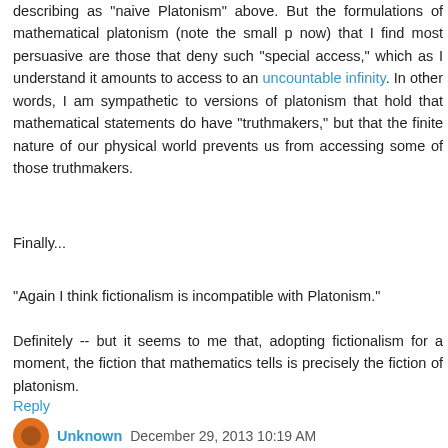describing as "naive Platonism" above. But the formulations of mathematical platonism (note the small p now) that I find most persuasive are those that deny such "special access," which as I understand it amounts to access to an uncountable infinity. In other words, I am sympathetic to versions of platonism that hold that mathematical statements do have "truthmakers," but that the finite nature of our physical world prevents us from accessing some of those truthmakers.
Finally...
"Again I think fictionalism is incompatible with Platonism."
Definitely -- but it seems to me that, adopting fictionalism for a moment, the fiction that mathematics tells is precisely the fiction of platonism.
Reply
Unknown December 29, 2013 10:19 AM
Reminded me of what Morpheus said in the Matrix movie...